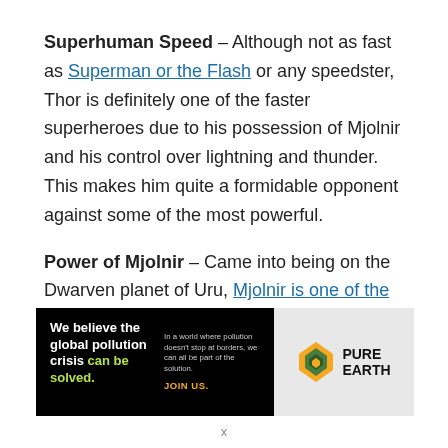Superhuman Speed – Although not as fast as Superman or the Flash or any speedster, Thor is definitely one of the faster superheroes due to his possession of Mjolnir and his control over lightning and thunder. This makes him quite a formidable opponent against some of the most powerful.
Power of Mjolnir – Came into being on the Dwarven planet of Uru, Mjolnir is one of the strongest weapons in the Marvel universe. It can allow travel between realms as well as help Thor fly long distances. However, it can
[Figure (infographic): Advertisement for Pure Earth organization. Black background with text 'We believe the global pollution crisis can be solved.' with 'can be solved.' in green. Right side shows 'In a world where pollution doesn't stop at borders, we can all be part of the solution. JOIN US.' in yellow. Pure Earth logo with diamond/arrow icon on white/gray background.]
x